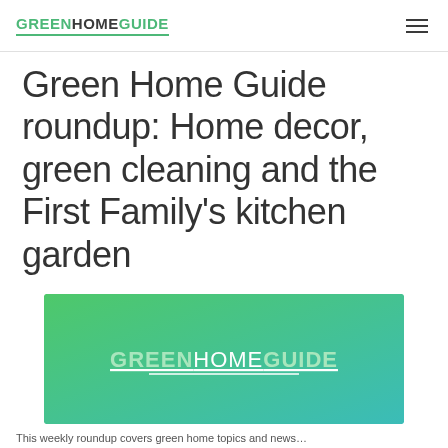GREENHOMEGUIDE
Green Home Guide roundup: Home decor, green cleaning and the First Family's kitchen garden
[Figure (logo): Green Home Guide logo on a green-to-teal gradient background]
This weekly roundup covers green home topics and news.